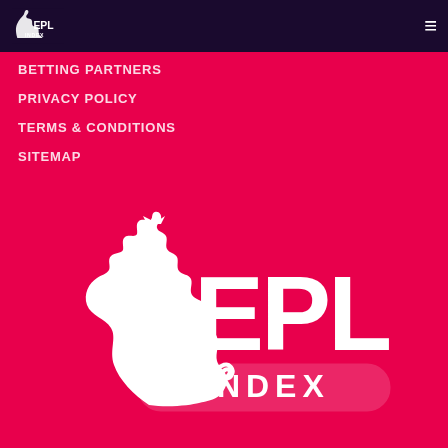EPL Index
BETTING PARTNERS
PRIVACY POLICY
TERMS & CONDITIONS
SITEMAP
[Figure (logo): EPL Index large white lion logo with EPL INDEX text on crimson/pink background]